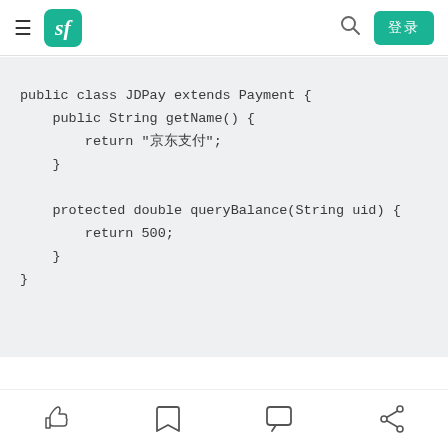sf navigation header with logo, search and login button
public class JDPay extends Payment {
    public String getName() {
        return "京东支付";
    }

    protected double queryBalance(String uid) {
        return 500;
    }
}
然后我们把WechatPay也这样实现一下
Like, Bookmark, Comment, Share action bar